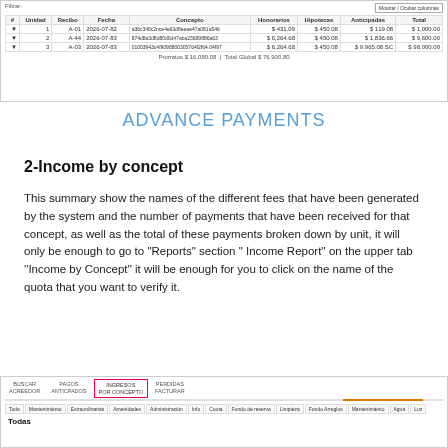[Figure (screenshot): Table screenshot showing advance payments with columns: Unidad, Recibo, Fecha, Concepto, Honorarios, Hipotecas, Anticipadas, Total. Three rows of data with totals row at bottom showing Prorratos $ 16,080.08 | Total Global $ 76,900.80]
ADVANCE PAYMENTS
2-Income by concept
This summary show the names of the different fees that have been generated by the system and the number of payments that have been received for that concept, as well as the total of these payments broken down by unit, it will only be enough to go to "Reports" section " Income Report'' on the upper tab ''Income by Concept'' it will be enough for you to click on the name of the quota that you want to verify it.
[Figure (screenshot): Bottom navigation screenshot showing tabs: BUSCAR ACREEDOR, PAGOS ANTICPADOS, INGRESOS POR CONCEPTO (active, highlighted in red border), PERDIDAS FACTURAR. Below are concept filter tabs: Todas, Mantenimiento, Extraordinarias, Amenidades, Administración, Info, Cuota, Fondo de reserva, Limpieza, Fondo Arreglos, Mantenimiento, Agua, Luz. 'Todas' label visible.]